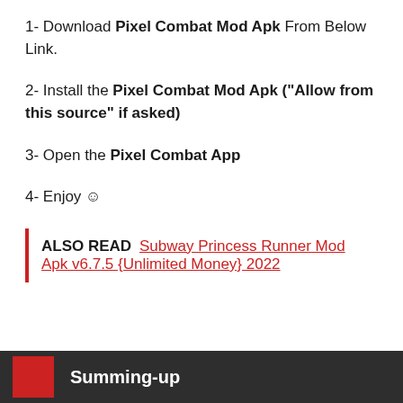1- Download Pixel Combat Mod Apk From Below Link.
2- Install the Pixel Combat Mod Apk ("Allow from this source" if asked)
3- Open the Pixel Combat App
4- Enjoy 😊
ALSO READ  Subway Princess Runner Mod Apk v6.7.5 {Unlimited Money} 2022
Summing-up